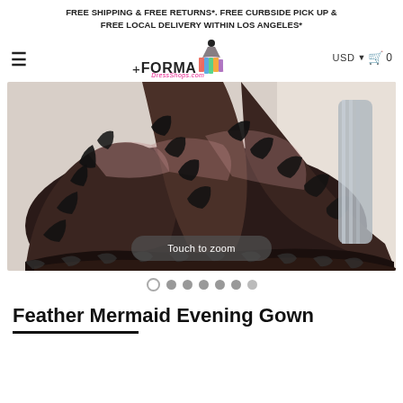FREE SHIPPING & FREE RETURNS*. FREE CURBSIDE PICK UP & FREE LOCAL DELIVERY WITHIN LOS ANGELES*
[Figure (logo): FormalDressShops.com logo with plus sign, text and illustrated woman in colorful gown]
[Figure (photo): Close-up photo of a black floral lace overlay ball gown skirt spread out on a light floor with a silver decorative item in background. Overlay text reads 'Touch to zoom'.]
Feather Mermaid Evening Gown